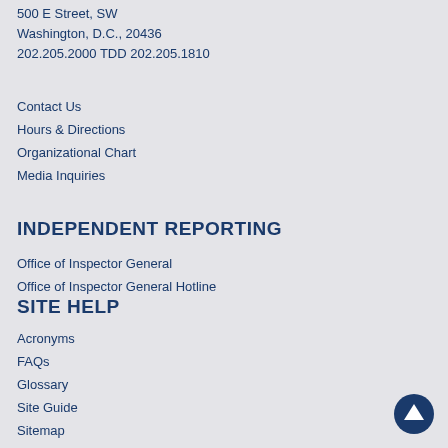500 E Street, SW
Washington, D.C., 20436
202.205.2000 TDD 202.205.1810
Contact Us
Hours & Directions
Organizational Chart
Media Inquiries
INDEPENDENT REPORTING
Office of Inspector General
Office of Inspector General Hotline
SITE HELP
Acronyms
FAQs
Glossary
Site Guide
Sitemap